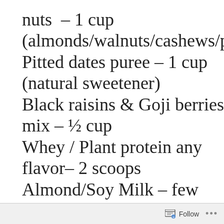nuts – 1 cup (almonds/walnuts/cashews/pe Pitted dates puree – 1 cup (natural sweetener) Black raisins & Goji berries mix – ½ cup Whey / Plant protein any flavor– 2 scoops Almond/Soy Milk – few tbsp needed only to adjust the
Follow ···